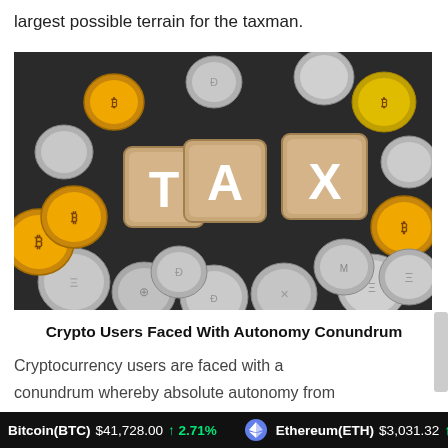largest possible terrain for the taxman.
[Figure (photo): Wooden blocks spelling TAX surrounded by various cryptocurrency coins including Bitcoin, Ethereum, Dash, Ripple, Monero and others, on a dark background.]
Crypto Users Faced With Autonomy Conundrum
Cryptocurrency users are faced with a conundrum whereby absolute autonomy from state interference denies them the protection of governments when banks and other
Bitcoin(BTC) $41,728.00 ↑ 2.71%   Ethereum(ETH) $3,031.32 ↑